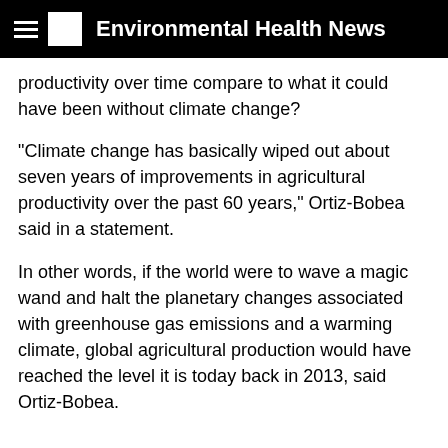Environmental Health News
productivity over time compare to what it could have been without climate change?
"Climate change has basically wiped out about seven years of improvements in agricultural productivity over the past 60 years," Ortiz-Bobea said in a statement.
In other words, if the world were to wave a magic wand and halt the planetary changes associated with greenhouse gas emissions and a warming climate, global agricultural production would have reached the level it is today back in 2013, said Ortiz-Bobea.